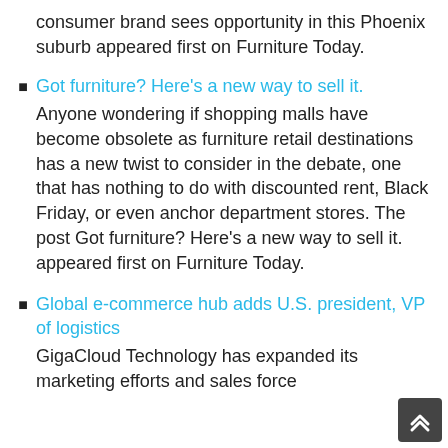consumer brand sees opportunity in this Phoenix suburb appeared first on Furniture Today.
Got furniture? Here's a new way to sell it.
Anyone wondering if shopping malls have become obsolete as furniture retail destinations has a new twist to consider in the debate, one that has nothing to do with discounted rent, Black Friday, or even anchor department stores. The post Got furniture? Here's a new way to sell it. appeared first on Furniture Today.
Global e-commerce hub adds U.S. president, VP of logistics
GigaCloud Technology has expanded its marketing efforts and sales force